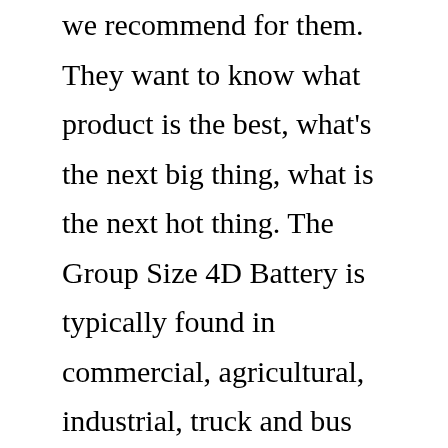we recommend for them. They want to know what product is the best, what's the next big thing, what is the next hot thing. The Group Size 4D Battery is typically found in commercial, agricultural, industrial, truck and bus vehicles and equipment. Group Size 4D-3 is a 12 Volt 950 Cold Cranking Amp Battery. Group Size 4D BatteryCat® Premium High Output Maintenance-Free Wet Battery (12 volt, 1400 CCA, 4D BCI) Deep Cycle Marine